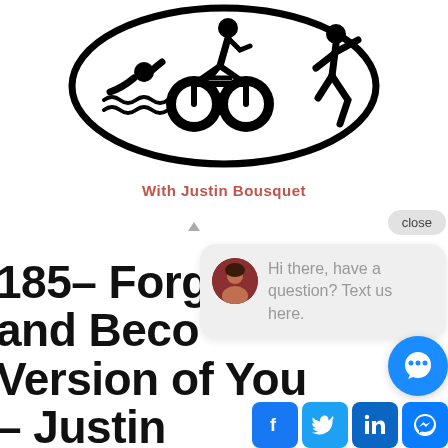[Figure (illustration): Triathlon oval logo with swimmer, cyclist, and runner icons in black on white background with oval border]
With Justin Bousquet
185– Forget Perfection and Become a Better Version of You – Justin Bousquet on Path to Mastery
[Figure (screenshot): Chat widget popup with avatar of a woman and text: Hi there, have a question? Text us here. With close button and social media icons (Facebook, Twitter, LinkedIn, Messenger) at bottom right.]